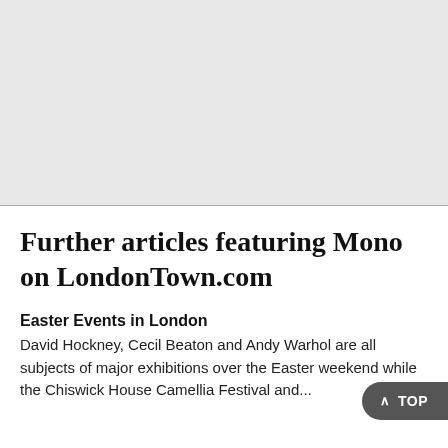[Figure (other): Gray placeholder image area at the top of the page]
Further articles featuring Mono on LondonTown.com
Easter Events in London
David Hockney, Cecil Beaton and Andy Warhol are all subjects of major exhibitions over the Easter weekend while the Chiswick House Camellia Festival and...
February in London 2020